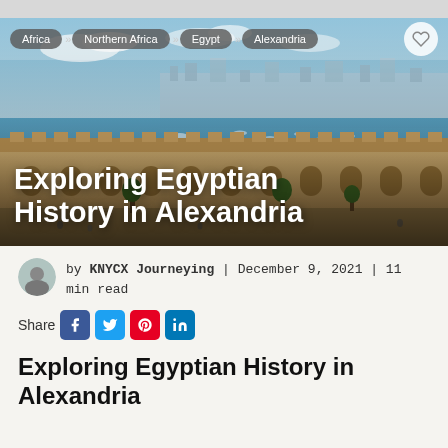[Figure (screenshot): Hero banner photo of Alexandria, Egypt showing a coastal fortress (Citadel of Qaitbay) in foreground with the Mediterranean Sea and city skyline in background. Breadcrumb navigation overlay at top showing Africa » Northern Africa » Egypt » Alexandria with a heart/favorite button. Large white bold title text overlay reading 'Exploring Egyptian History in Alexandria'.]
by KNYCX Journeying | December 9, 2021 | 11 min read
Share [Facebook] [Twitter] [Pinterest] [LinkedIn]
Exploring Egyptian History in Alexandria